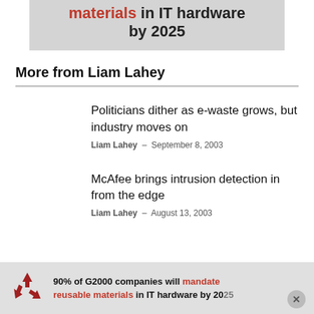[Figure (infographic): Top banner with text: materials in IT hardware by 2025 on grey background]
More from Liam Lahey
Politicians dither as e-waste grows, but industry moves on
Liam Lahey - September 8, 2003
McAfee brings intrusion detection in from the edge
Liam Lahey - August 13, 2003
[Figure (infographic): Bottom ad banner: 90% of G2000 companies will mandate reusable materials in IT hardware by 2025, with recycling icon]